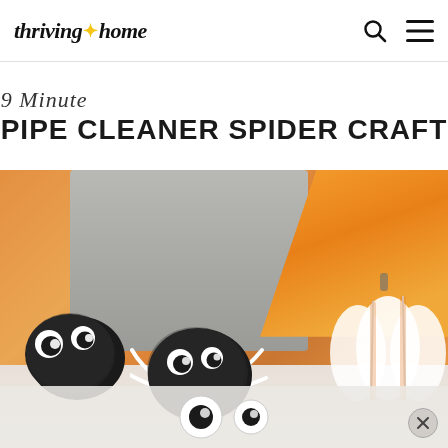thriving * home
9 Minute PIPE CLEANER SPIDER CRAFT
[Figure (photo): Close-up photo of black pom-pom spiders with googly eyes arranged on a white surface, with blurred orange ribbon and gray background. A white pumpkin decoration is visible on the right side. The spiders have white pipe cleaner legs.]